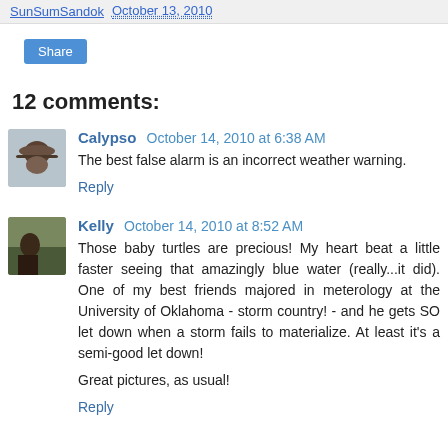SunSumSandok  October 13, 2010
Share
12 comments:
Calypso  October 14, 2010 at 6:38 AM
The best false alarm is an incorrect weather warning.
Reply
Kelly  October 14, 2010 at 8:52 AM
Those baby turtles are precious! My heart beat a little faster seeing that amazingly blue water (really...it did). One of my best friends majored in meterology at the University of Oklahoma - storm country! - and he gets SO let down when a storm fails to materialize. At least it's a semi-good let down!

Great pictures, as usual!
Reply